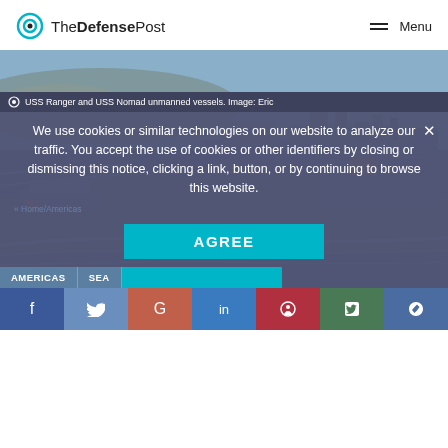The Defense Post | Menu
[Figure (photo): USS Ranger and USS Nomad unmanned naval vessels at sea with a coastline visible in the background]
USS Ranger and USS Nomad unmanned vessels. Image: Eric
We use cookies or similar technologies on our website to analyze our traffic. You accept the use of cookies or other identifiers by closing or dismissing this notice, clicking a link, button, or by continuing to browse this website.
AGREE
« Home/Americas
AMERICAS | SEA | T...